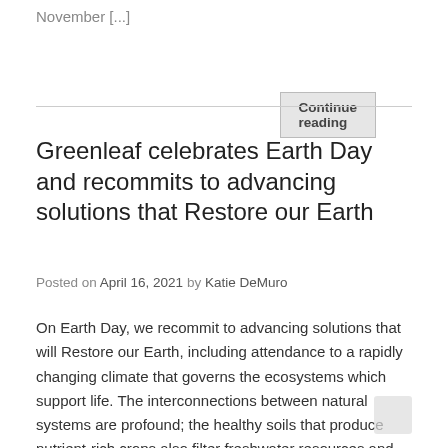November [...]
Continue reading
Greenleaf celebrates Earth Day and recommits to advancing solutions that Restore our Earth
Posted on April 16, 2021 by Katie DeMuro
On Earth Day, we recommit to advancing solutions that will Restore our Earth, including attendance to a rapidly changing climate that governs the ecosystems which support life. The interconnections between natural systems are profound; the healthy soils that produce nutrient-rich crops also filter freshwater resources and purify the air. Healing these systems for a healthy world requires a whole of society approach with policies that